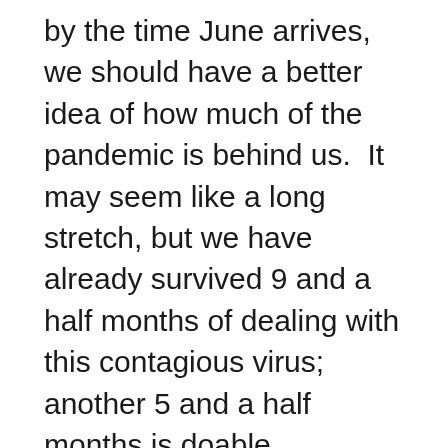by the time June arrives, we should have a better idea of how much of the pandemic is behind us.  It may seem like a long stretch, but we have already survived 9 and a half months of dealing with this contagious virus; another 5 and a half months is doable.
Let's hope that many of those who lost jobs will return to full employment.